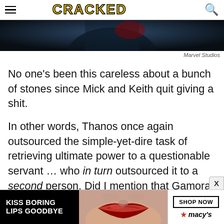CRACKED
[Figure (photo): A dark hero/character image from a Marvel Studios film, showing a figure in dark armored costume against a dark background.]
Marvel Studios
No one's been this careless about a bunch of stones since Mick and Keith quit giving a shit.
In other words, Thanos once again outsourced the simple-yet-dire task of retrieving ultimate power to a questionable servant … who in turn outsourced it to a second person. Did I mention that Gamora is also
[Figure (other): Macy's advertisement banner: 'KISS BORING LIPS GOODBYE' with SHOP NOW button and Macy's logo.]